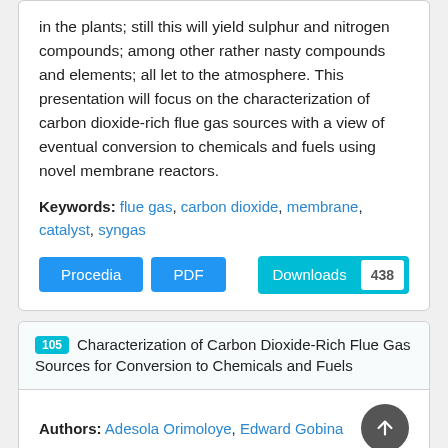in the plants; still this will yield sulphur and nitrogen compounds; among other rather nasty compounds and elements; all let to the atmosphere. This presentation will focus on the characterization of carbon dioxide-rich flue gas sources with a view of eventual conversion to chemicals and fuels using novel membrane reactors.
Keywords: flue gas, carbon dioxide, membrane, catalyst, syngas
Procedia | PDF | Downloads 438
105 Characterization of Carbon Dioxide-Rich Flue Gas Sources for Conversion to Chemicals and Fuels
Authors: Adesola Orimoloye, Edward Gobina
Abstract: